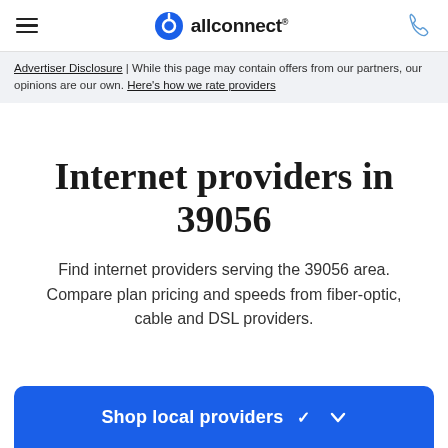allconnect®
Advertiser Disclosure | While this page may contain offers from our partners, our opinions are our own. Here's how we rate providers
Internet providers in 39056
Find internet providers serving the 39056 area. Compare plan pricing and speeds from fiber-optic, cable and DSL providers.
Shop local providers